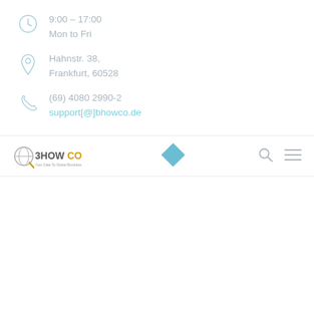9:00 – 17:00
Mon to Fri
Hahnstr. 38,
Frankfurt, 60528
(69) 4080 2990-2
support[@]bhowco.de
[Figure (logo): 3HOWCO logo - Your Gate To Global Business]
[Figure (other): Blue diamond shape decorative element]
[Figure (other): Search icon]
[Figure (other): Hamburger menu icon]